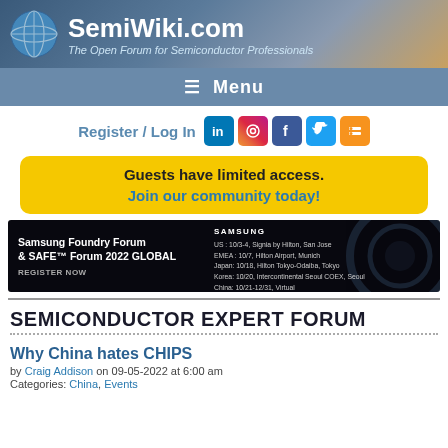SemiWiki.com – The Open Forum for Semiconductor Professionals
≡ Menu
Register / Log In
[Figure (screenshot): Samsung Foundry Forum & SAFE Forum 2022 GLOBAL advertisement banner]
SEMICONDUCTOR EXPERT FORUM
Why China hates CHIPS
by Craig Addison on 09-05-2022 at 6:00 am
Categories: China, Events